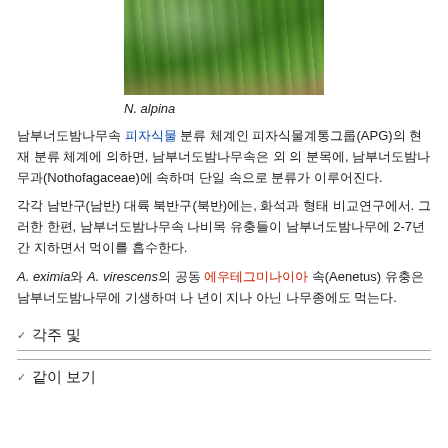[Figure (photo): Forest scene with deciduous trees and leafy canopy, outdoor nature photograph]
N. alpina
남부너도밤나무속 피자식물 분류 체계인 피자식물계통그룹(APG)의 현재 분류 체계에 의하면, 남부너도밤나무속은 너도밤나무과(Nothofagaceae)에 속하며 단일 속으로 분류가 이루어진다.
각각 남반구(남반) 대륙 북반구(북반)에는, 화석과 형태 비교연구에서. 그러한 한편, 남부너도밤나무속 나비목 유충들이 남부너도밤나무에 2-7년간 지하면서 흡수하여 먹는다.
A. eximia와 A. virescens의 공동 에우테그미나이아과(Aenetus) 유충은 남부너도밤나무에 3 년이 다른 나무종에도 먹는다.
각주 및 참고
같이 보기